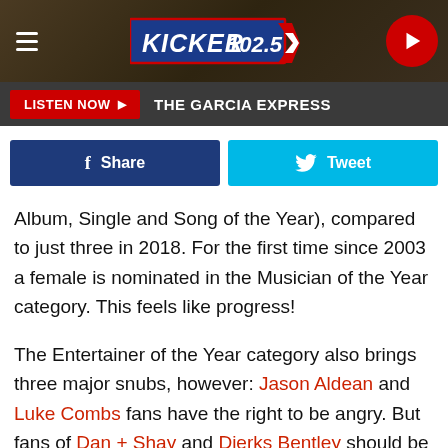KICKER 102.5
LISTEN NOW ▶  THE GARCIA EXPRESS
Share  Tweet
Album, Single and Song of the Year), compared to just three in 2018. For the first time since 2003 a female is nominated in the Musician of the Year category. This feels like progress!
The Entertainer of the Year category also brings three major snubs, however: Jason Aldean and Luke Combs fans have the right to be angry. But fans of Dan + Shay and Dierks Bentley should be pleased with how Wednesday morning's announcement played out.